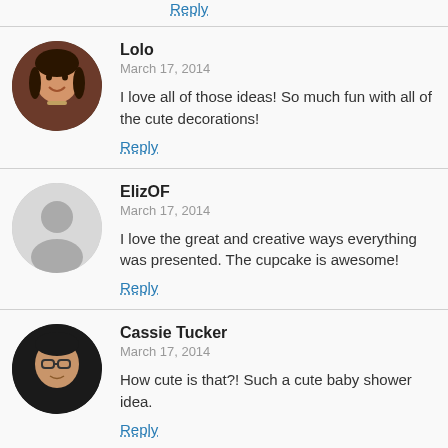Reply
Lolo
March 17, 2014
I love all of those ideas! So much fun with all of the cute decorations!
Reply
ElizOF
March 17, 2014
I love the great and creative ways everything was presented. The cupcake is awesome!
Reply
Cassie Tucker
March 17, 2014
How cute is that?! Such a cute baby shower idea.
Reply